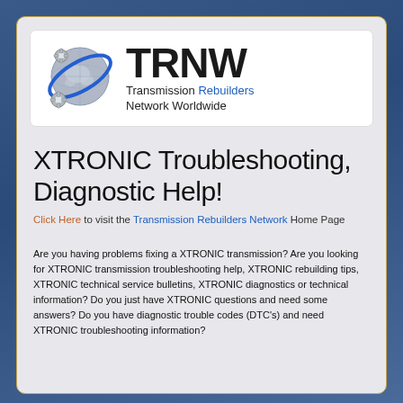[Figure (logo): TRNW logo with globe and gears icon, text 'TRNW Transmission Rebuilders Network Worldwide']
XTRONIC Troubleshooting, Diagnostic Help!
Click Here to visit the Transmission Rebuilders Network Home Page
Are you having problems fixing a XTRONIC transmission? Are you looking for XTRONIC transmission troubleshooting help, XTRONIC rebuilding tips, XTRONIC technical service bulletins, XTRONIC diagnostics or technical information? Do you just have XTRONIC questions and need some answers? Do you have diagnostic trouble codes (DTC's) and need XTRONIC troubleshooting information?